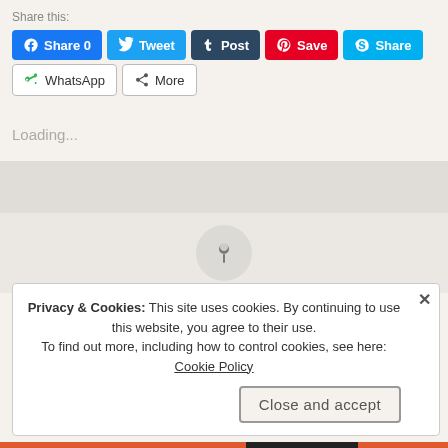Share this:
[Figure (screenshot): Row of social share buttons: Facebook Share 0 (blue), Twitter Tweet (light blue), Tumblr Post (dark navy), Pinterest Save (red), Skype Share (cyan)]
[Figure (screenshot): Second row of share buttons: WhatsApp (outlined), More (outlined)]
Loading...
[Figure (screenshot): Gray bar section with a circular pin icon below it on a light beige background]
Privacy & Cookies: This site uses cookies. By continuing to use this website, you agree to their use. To find out more, including how to control cookies, see here: Cookie Policy
Close and accept